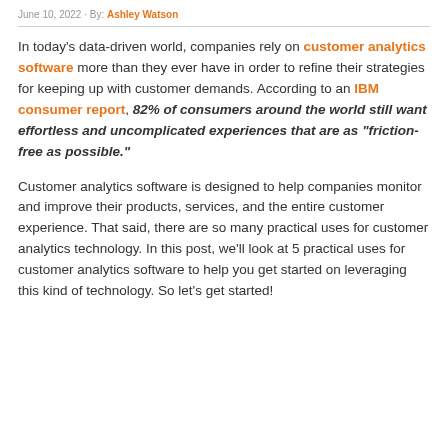June 10, 2022 · By: Ashley Watson
In today's data-driven world, companies rely on customer analytics software more than they ever have in order to refine their strategies for keeping up with customer demands. According to an IBM consumer report, 82% of consumers around the world still want effortless and uncomplicated experiences that are as "friction-free as possible."
Customer analytics software is designed to help companies monitor and improve their products, services, and the entire customer experience. That said, there are so many practical uses for customer analytics technology. In this post, we'll look at 5 practical uses for customer analytics software to help you get started on leveraging this kind of technology. So let's get started!